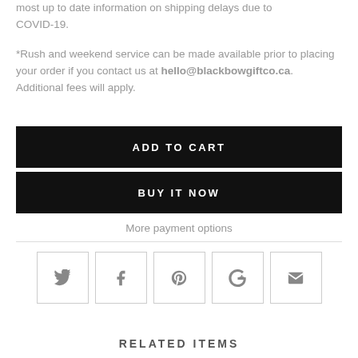most up to date information on shipping delays due to COVID-19.
*Rush and weekend service can be made available prior to placing your order if you contact us at hello@blackbowgiftco.ca. Additional fees will apply.
ADD TO CART
BUY IT NOW
More payment options
[Figure (other): Social sharing icons: Twitter, Facebook, Pinterest, Google+, Email]
RELATED ITEMS